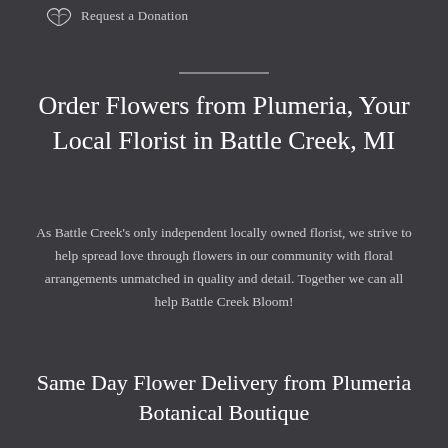Request a Donation
Order Flowers from Plumeria, Your Local Florist in Battle Creek, MI
As Battle Creek's only independent locally owned florist, we strive to help spread love through flowers in our community with floral arrangements unmatched in quality and detail. Together we can all help Battle Creek Bloom!
Same Day Flower Delivery from Plumeria Botanical Boutique